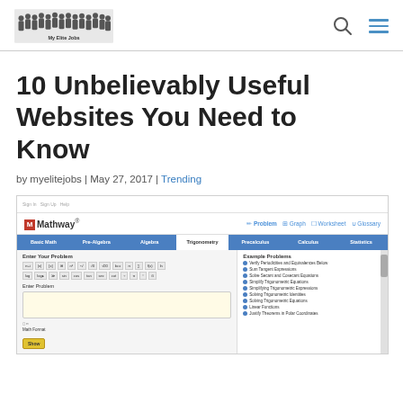My Elite Jobs
10 Unbelievably Useful Websites You Need to Know
by myelitejobs | May 27, 2017 | Trending
[Figure (screenshot): Screenshot of the Mathway website showing a math problem solver interface with tabs for Basic Math, Pre-Algebra, Algebra, Trigonometry, Precalculus, Calculus, Statistics, and a keypad entry area on the left and example problems on the right.]